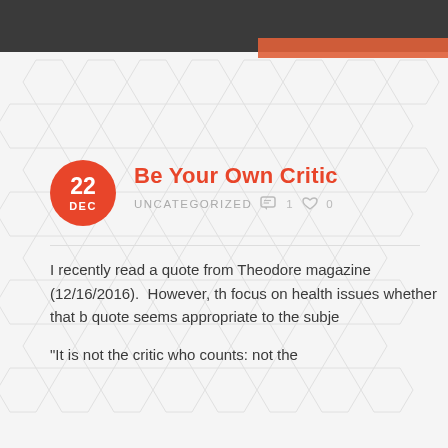Be Your Own Critic
UNCATEGORIZED  1  0
I recently read a quote from Theodore magazine (12/16/2016).  However, th focus on health issues whether that b quote seems appropriate to the subje
“It is not the critic who counts: not the